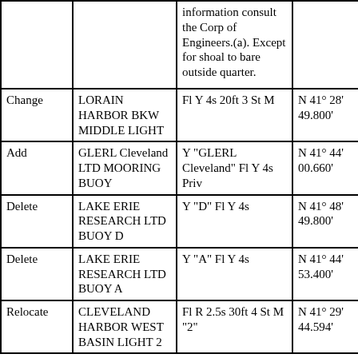| Action | Light Name | Characteristic | Position |
| --- | --- | --- | --- |
|  |  | information consult the Corp of Engineers.(a). Except for shoal to bare outside quarter. |  |
| Change | LORAIN HARBOR BKW MIDDLE LIGHT | Fl Y 4s 20ft 3 St M | N 41° 28' 49.800' |
| Add | GLERL Cleveland LTD MOORING BUOY | Y "GLERL Cleveland" Fl Y 4s Priv | N 41° 44' 00.660' |
| Delete | LAKE ERIE RESEARCH LTD BUOY D | Y "D" Fl Y 4s | N 41° 48' 49.800' |
| Delete | LAKE ERIE RESEARCH LTD BUOY A | Y "A" Fl Y 4s | N 41° 44' 53.400' |
| Relocate | CLEVELAND HARBOR WEST BASIN LIGHT 2 | Fl R 2.5s 30ft 4 St M "2" | N 41° 29' 44.594' |